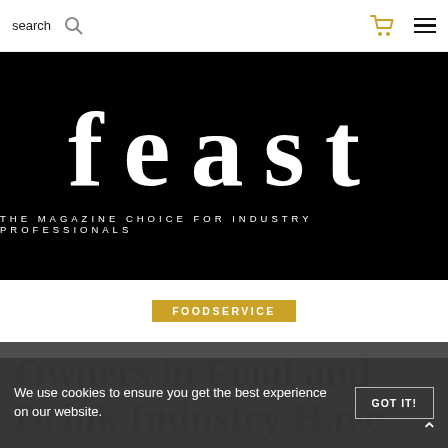search
[Figure (logo): Feast magazine logo — large white italic 'feast' text on black background with tagline 'THE MAGAZINE CHOICE FOR INDUSTRY PROFESSIONALS']
FOODSERVICE
Owners in Food and Drink Industry Have Been Warned tha
We use cookies to ensure you get the best experience on our website.
GOT IT!